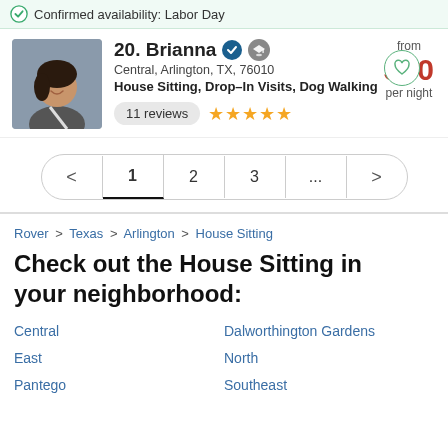Confirmed availability: Labor Day
20. Brianna — Central, Arlington, TX, 76010 — House Sitting, Drop-In Visits, Dog Walking — 11 reviews — 5 stars — from $40 per night
< 1 2 3 ... >
Rover > Texas > Arlington > House Sitting
Check out the House Sitting in your neighborhood:
Central
East
Pantego
Dalworthington Gardens
North
Southeast